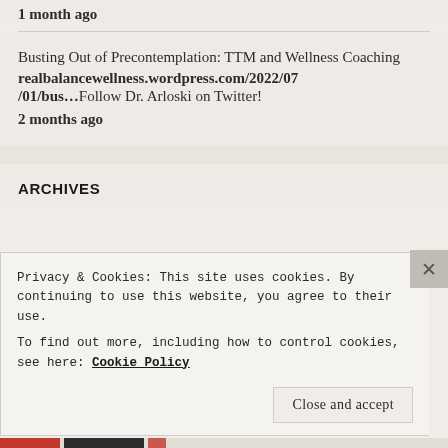1 month ago
Busting Out of Precontemplation: TTM and Wellness Coaching realbalancewellness.wordpress.com/2022/07/01/bus…Follow Dr. Arloski on Twitter!
2 months ago
ARCHIVES
Privacy & Cookies: This site uses cookies. By continuing to use this website, you agree to their use.
To find out more, including how to control cookies, see here: Cookie Policy
Close and accept